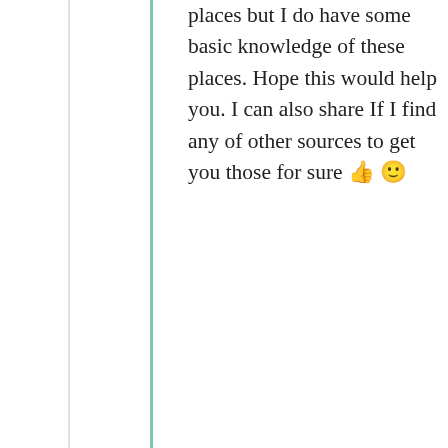places but I do have some basic knowledge of these places. Hope this would help you. I can also share If I find any of other sources to get you those for sure 👍 🙂
★ Liked by 2 people
Advertisements
[Figure (infographic): Dark navy advertisement banner reading 'Opinions. We all have them!' with WordPress and another logo on the right.]
Privacy & Cookies: This site uses cookies. By continuing to use this website, you agree to their use. To find out more, including how to control cookies, see here: Cookie Policy
Close and accept
14th May 2021 at 4:45 pm